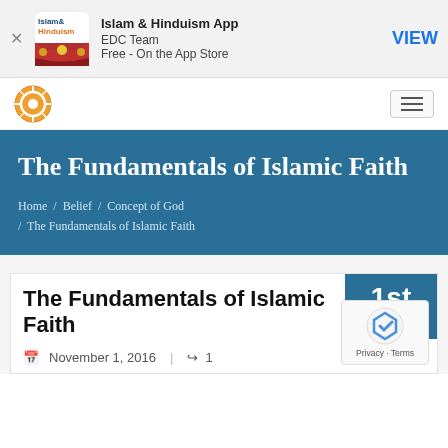[Figure (screenshot): Islam & Hinduism app advertisement banner with logo, app name, developer (EDC Team), Free - On the App Store, and VIEW button]
[Figure (logo): Website navigation bar with circular mandala logo and hamburger menu icon]
The Fundamentals of Islamic Faith
Home / Belief / Concept of God / The Fundamentals of Islamic Faith
The Fundamentals of Islamic Faith
November 1, 2016  |  1